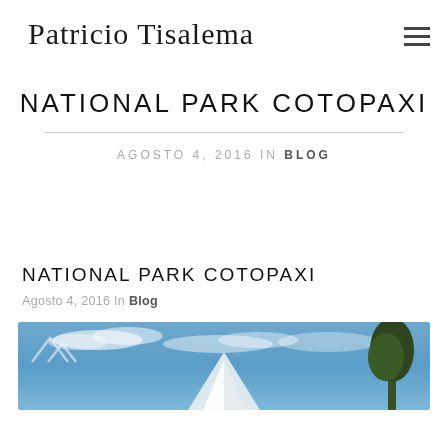Patricio Tisalema
NATIONAL PARK COTOPAXI
Agosto 4, 2016 In Blog
NATIONAL PARK COTOPAXI
Agosto 4, 2016 In Blog
[Figure (photo): Landscape photo of Cotopaxi volcano with snow-capped peak under blue sky with clouds, and a tree visible on the right side. A mountain logo watermark is visible in the top left.]